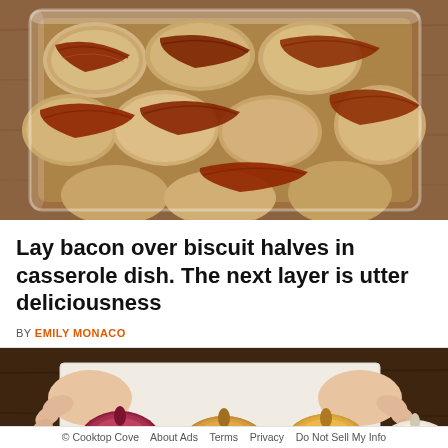[Figure (photo): Overhead view of biscuit halves topped with strips of cooked bacon in a glass casserole dish on a wooden surface]
Lay bacon over biscuit halves in casserole dish. The next layer is utter deliciousness
BY EMILY MONACO
[Figure (photo): Hands resting on a cutting board next to three onions: a red onion, two yellow onions, and a white onion on a dark wooden table]
© Cooktop Cove   About Ads   Terms   Privacy   Do Not Sell My Info